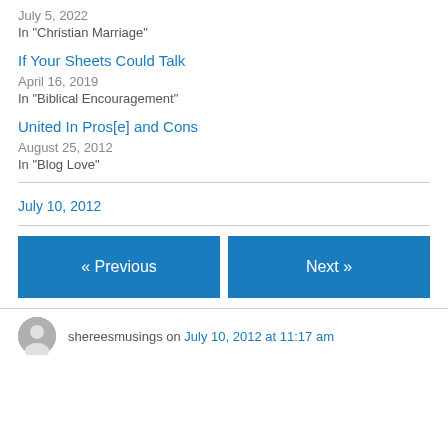July 5, 2022
In "Christian Marriage"
If Your Sheets Could Talk
April 16, 2019
In "Biblical Encouragement"
United In Pros[e] and Cons
August 25, 2012
In "Blog Love"
July 10, 2012
« Previous
Next »
shereesmusings on July 10, 2012 at 11:17 am